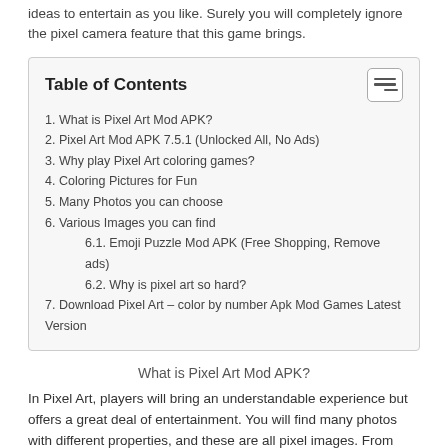ideas to entertain as you like. Surely you will completely ignore the pixel camera feature that this game brings.
| 1. What is Pixel Art Mod APK? |
| 2. Pixel Art Mod APK 7.5.1 (Unlocked All, No Ads) |
| 3. Why play Pixel Art coloring games? |
| 4. Coloring Pictures for Fun |
| 5. Many Photos you can choose |
| 6. Various Images you can find |
| 6.1. Emoji Puzzle Mod APK (Free Shopping, Remove ads) |
| 6.2. Why is pixel art so hard? |
| 7. Download Pixel Art – color by number Apk Mod Games Latest Version |
What is Pixel Art Mod APK?
In Pixel Art, players will bring an understandable experience but offers a great deal of entertainment. You will find many photos with different properties, and these are all pixel images. From there, it's